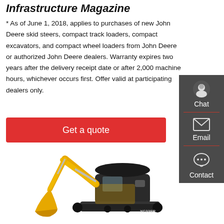Infrastructure Magazine
* As of June 1, 2018, applies to purchases of new John Deere skid steers, compact track loaders, compact excavators, and compact wheel loaders from John Deere or authorized John Deere dealers. Warranty expires two years after the delivery receipt date or after 2,000 machine hours, whichever occurs first. Offer valid at participating dealers only.
Get a quote
[Figure (other): Sidebar with Chat, Email, and Contact icons on dark grey background]
[Figure (photo): Yellow compact excavator (YUCHAI YC22SR) with black canopy]